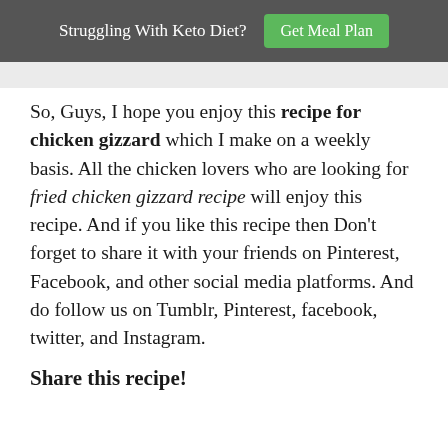Struggling With Keto Diet? Get Meal Plan
So, Guys, I hope you enjoy this recipe for chicken gizzard which I make on a weekly basis. All the chicken lovers who are looking for fried chicken gizzard recipe will enjoy this recipe. And if you like this recipe then Don't forget to share it with your friends on Pinterest, Facebook, and other social media platforms. And do follow us on Tumblr, Pinterest, facebook, twitter, and Instagram.
Share this recipe!